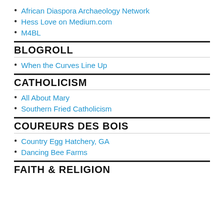African Diaspora Archaeology Network
Hess Love on Medium.com
M4BL
BLOGROLL
When the Curves Line Up
CATHOLICISM
All About Mary
Southern Fried Catholicism
COUREURS DES BOIS
Country Egg Hatchery, GA
Dancing Bee Farms
FAITH & RELIGION